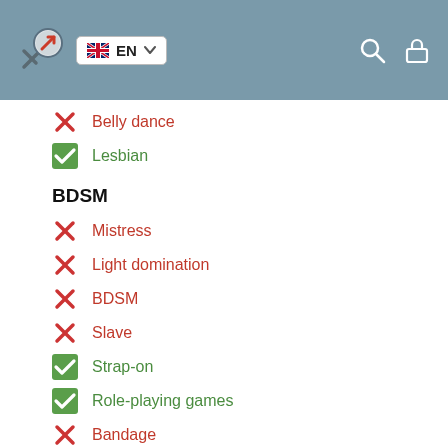EN
Belly dance
Lesbian
BDSM
Mistress
Light domination
BDSM
Slave
Strap-on
Role-playing games
Bandage
Trampling
Caress
Blowjob condom
GFE
Deepthroating Blowjob